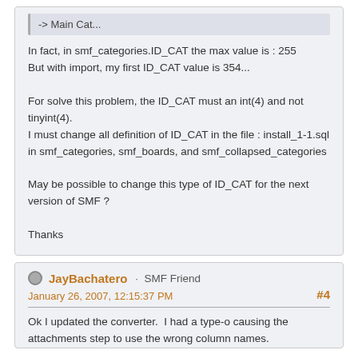-> Main Cat...
In fact, in smf_categories.ID_CAT the max value is : 255
But with import, my first ID_CAT value is 354...

For solve this problem, the ID_CAT must an int(4) and not tinyint(4).
I must change all definition of ID_CAT in the file : install_1-1.sql
in smf_categories, smf_boards, and smf_collapsed_categories

May be possible to change this type of ID_CAT for the next version of SMF ?

Thanks
JayBachatero · SMF Friend
January 26, 2007, 12:15:37 PM
#4
Ok I updated the converter.  I had a type-o causing the attachments step to use the wrong column names.